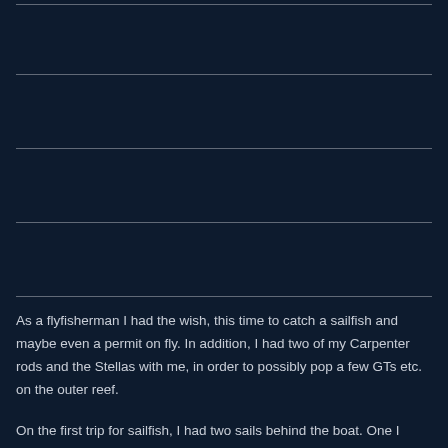As a flyfisherman I had the wish, this time to catch a sailfish and maybe even a permit on fly. In addition, I had two of my Carpenter rods and the Stellas with me, in order to possibly pop a few GTs etc. on the outer reef.
On the first trip for sailfish, I had two sails behind the boat. One I could just hook, but lost